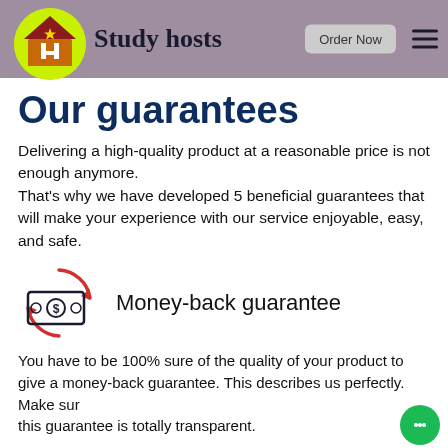Study hosts  Order Now
Our guarantees
Delivering a high-quality product at a reasonable price is not enough anymore. That's why we have developed 5 beneficial guarantees that will make your experience with our service enjoyable, easy, and safe.
[Figure (illustration): Money/cash icon with circular arrows in red, representing money-back guarantee]
Money-back guarantee
You have to be 100% sure of the quality of your product to give a money-back guarantee. This describes us perfectly. Make sure this guarantee is totally transparent.